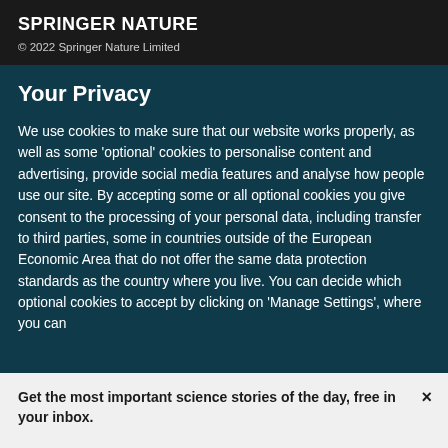SPRINGER NATURE
© 2022 Springer Nature Limited
Your Privacy
We use cookies to make sure that our website works properly, as well as some 'optional' cookies to personalise content and advertising, provide social media features and analyse how people use our site. By accepting some or all optional cookies you give consent to the processing of your personal data, including transfer to third parties, some in countries outside of the European Economic Area that do not offer the same data protection standards as the country where you live. You can decide which optional cookies to accept by clicking on 'Manage Settings', where you can
Get the most important science stories of the day, free in your inbox.
Sign up for Nature Briefing